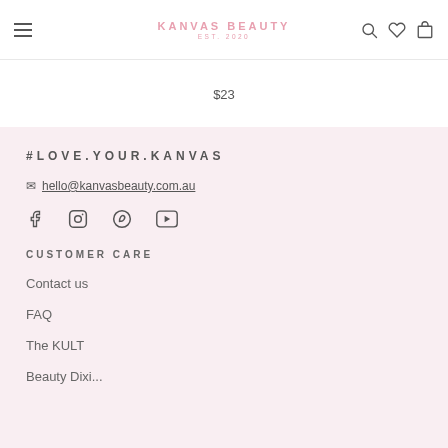KANVAS BEAUTY EST. 2020
$23
#LOVE.YOUR.KANVAS
✉ hello@kanvasbeauty.com.au
[Figure (other): Social media icons: Facebook, Instagram, Pinterest, YouTube]
CUSTOMER CARE
Contact us
FAQ
The KULT
Beauty Dixi...